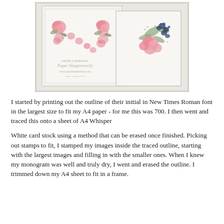[Figure (photo): Photo showing two handmade floral monogram cards with pink roses and navy blue floral stamps. A watermark reads 'MONICA FERNOSA - Paper Happinessily - www.paperhappinessily.com']
I started by printing out the outline of their initial in New Times Roman font in the largest size to fit my A4 paper - for me this was 700.  I then went and traced this onto a sheet of A4 Whisper
White card stock using a method that can be erased once finished.   Picking out stamps to fit, I stamped my images inside the traced outline, starting with the largest images and filling in with the smaller ones. When I knew my monogram was well and truly dry, I went and erased the outline. I trimmed down my A4 sheet to fit in a frame.